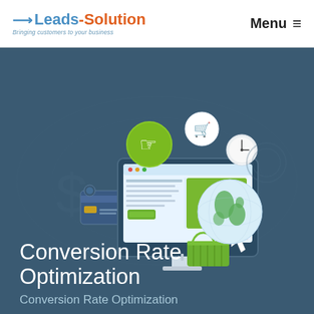Leads-Solution — Bringing customers to your business | Menu
[Figure (illustration): Digital marketing illustration showing a desktop computer monitor displaying a landing page with a green call-to-action button, surrounded by floating icons including a hand cursor (green circle), shopping cart (white circle), clock/timer, globe/earth, shopping basket, and a credit card, all on a dark teal background.]
Conversion Rate Optimization
Conversion Rate Optimization